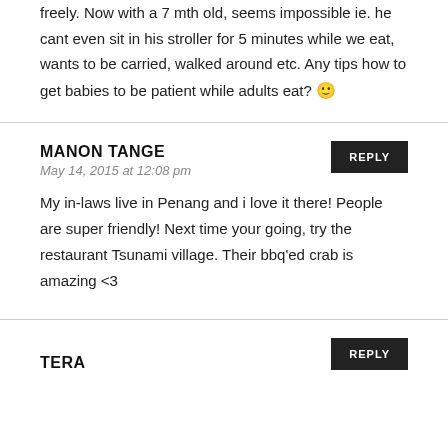freely. Now with a 7 mth old, seems impossible ie. he cant even sit in his stroller for 5 minutes while we eat, wants to be carried, walked around etc. Any tips how to get babies to be patient while adults eat? 🙂
REPLY
MANON TANGE
May 14, 2015 at 12:08 pm
My in-laws live in Penang and i love it there! People are super friendly! Next time your going, try the restaurant Tsunami village. Their bbq'ed crab is amazing <3
REPLY
TERA